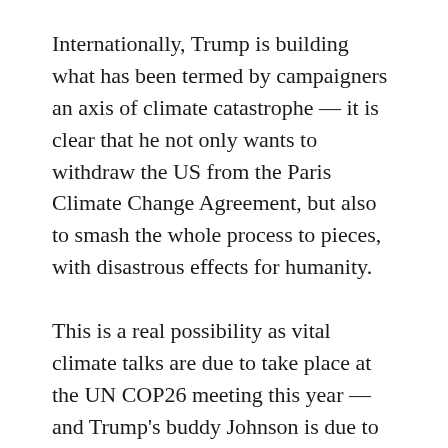Internationally, Trump is building what has been termed by campaigners an axis of climate catastrophe — it is clear that he not only wants to withdraw the US from the Paris Climate Change Agreement, but also to smash the whole process to pieces, with disastrous effects for humanity.
This is a real possibility as vital climate talks are due to take place at the UN COP26 meeting this year — and Trump's buddy Johnson is due to be the chair.
Trump is joined in his reactionary politics on this issue on the world stage by Australia, Saudi Arabia and the far-right President of Brazil, Jair